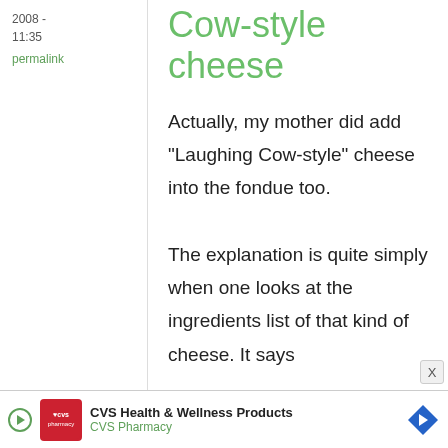2008 - 11:35
permalink
Cow-style cheese
Actually, my mother did add "Laughing Cow-style" cheese into the fondue too.
The explanation is quite simply when one looks at the ingredients list of that kind of cheese. It says
[Figure (other): CVS Health & Wellness Products advertisement banner with CVS Pharmacy logo and navigation arrow icon]